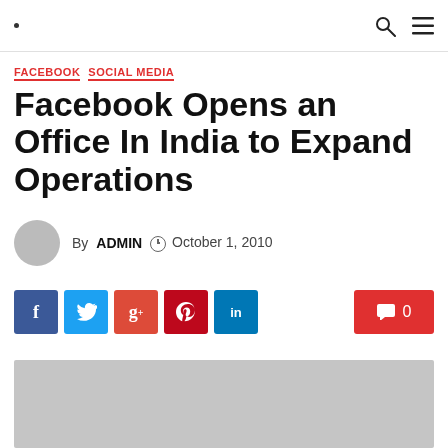· [search] [menu]
FACEBOOK  SOCIAL MEDIA
Facebook Opens an Office In India to Expand Operations
By ADMIN  October 1, 2010
[Figure (infographic): Social share buttons: Facebook, Twitter, Google+, Pinterest, LinkedIn; comment button showing 0 comments]
[Figure (photo): Gray placeholder image for article]